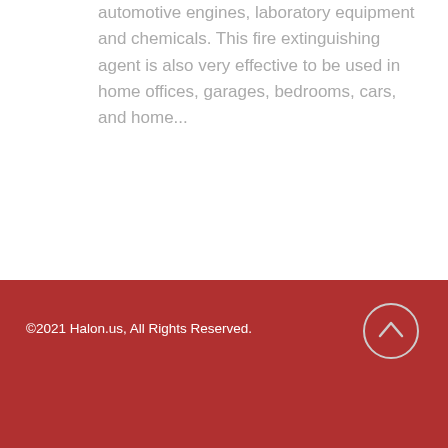automotive engines, laboratory equipment and chemicals. This fire extinguishing agent is also very effective to be used in home offices, garages, bedrooms, cars, and home...
©2021 Halon.us, All Rights Reserved.